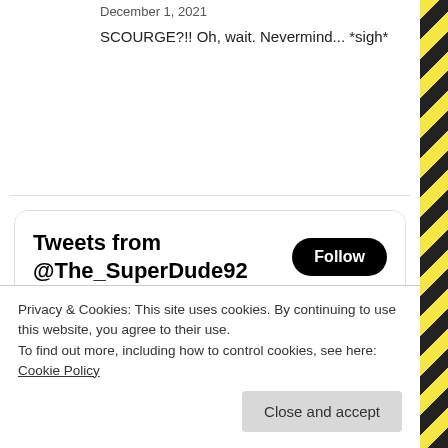December 1, 2021
SCOURGE?!! Oh, wait. Nevermind... *sigh*
[Figure (screenshot): Embedded Twitter widget showing tweets from @The_SuperDude92 with a Follow button, and a tweet reply from Matt Ve... @The_Sup... Aug 19 replying to @The_SuperDude92 saying 'The only thing to work towards in this']
Privacy & Cookies: This site uses cookies. By continuing to use this website, you agree to their use.
To find out more, including how to control cookies, see here: Cookie Policy
Close and accept